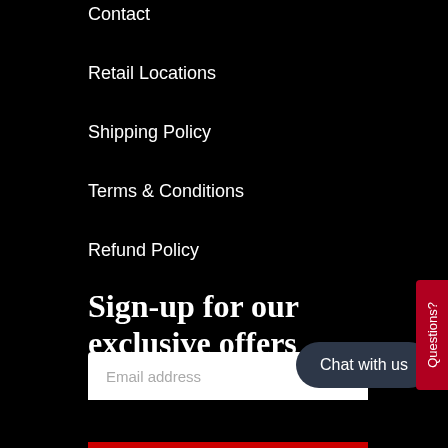Contact
Retail Locations
Shipping Policy
Terms & Conditions
Refund Policy
Sign-up for our exclusive offers
Email address
Chat with us
Questions?